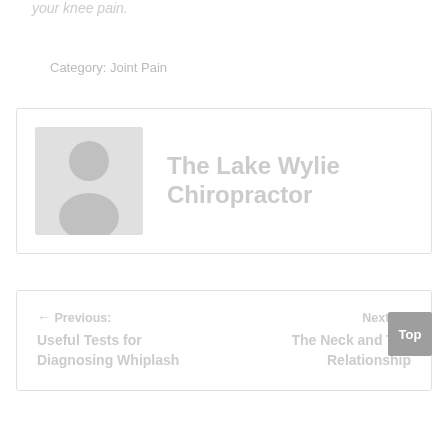your knee pain.
Category: Joint Pain
[Figure (illustration): Author avatar placeholder showing a generic silhouette of a person on a light grey background]
The Lake Wylie Chiropractor
← Previous: Useful Tests for Diagnosing Whiplash
Next: → The Neck and Tim… Relationship